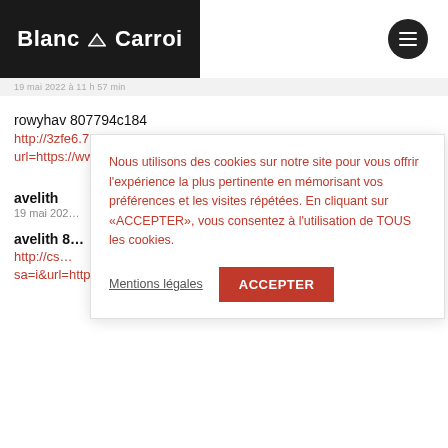[Figure (logo): Blanc N Carroi logo — white text on black background with a stylized icon between words]
19 mai 2022 à 11 h 57 min
rowyhav 807794c184
http://3zfe6.7ba.info/out.php?
url=https://www.mariannebehn.no/profil
avelith
19 mai 202…
avelith 8…
http://cs…
sa=i&url=https://njagteam.wixsite.com/n
Nous utilisons des cookies sur notre site pour vous offrir l'expérience la plus pertinente en mémorisant vos préférences et les visites répétées. En cliquant sur «ACCEPTER», vous consentez à l'utilisation de TOUS les cookies.
Mentions légales
ACCEPTER